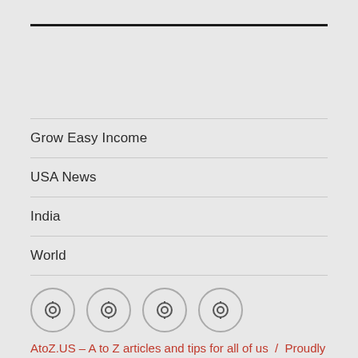Grow Easy Income
USA News
India
World
[Figure (other): Four circular social media icon buttons with eye/lens symbols]
AtoZ.US – A to Z articles and tips for all of us  /  Proudly